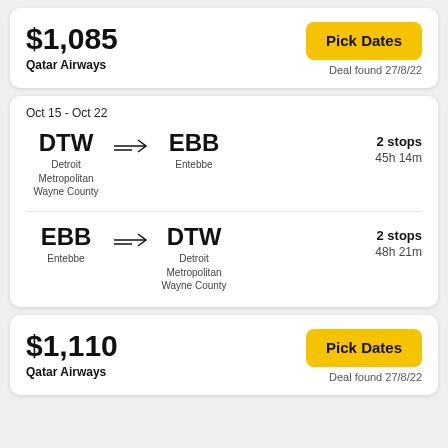$1,085
Qatar Airways
Pick Dates
Deal found 27/8/22
Oct 15 - Oct 22
DTW
Detroit Metropolitan Wayne County
EBB
Entebbe
2 stops
45h 14m
EBB
Entebbe
DTW
Detroit Metropolitan Wayne County
2 stops
48h 21m
$1,110
Qatar Airways
Pick Dates
Deal found 27/8/22